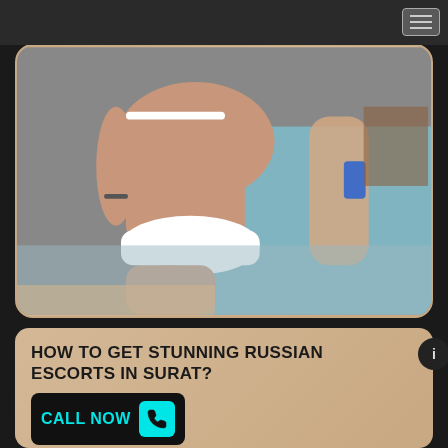[Figure (photo): A photo of a woman in a white bikini sitting by a pool, with another person visible in the background holding a phone]
HOW TO GET STUNNING RUSSIAN ESCORTS IN SURAT?
CALL NOW
Surat has a location with men and women with